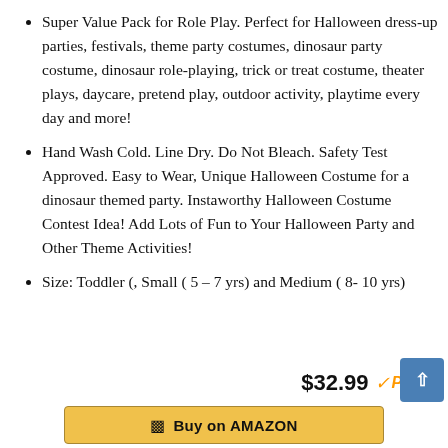Super Value Pack for Role Play. Perfect for Halloween dress-up parties, festivals, theme party costumes, dinosaur party costume, dinosaur role-playing, trick or treat costume, theater plays, daycare, pretend play, outdoor activity, playtime every day and more!
Hand Wash Cold. Line Dry. Do Not Bleach. Safety Test Approved. Easy to Wear, Unique Halloween Costume for a dinosaur themed party. Instaworthy Halloween Costume Contest Idea! Add Lots of Fun to Your Halloween Party and Other Theme Activities!
Size: Toddler (, Small ( 5 – 7 yrs) and Medium ( 8- 10 yrs)
$32.99
Buy on AMAZON